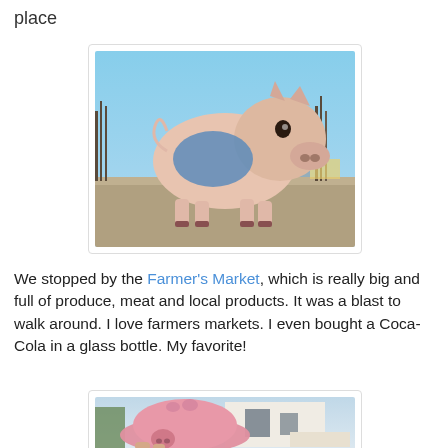place
[Figure (photo): Large decorative pig sculpture outdoors, painted pink with a blue garment, standing in a parking lot area with bare trees and blue sky in the background.]
We stopped by the Farmer's Market, which is really big and full of produce, meat and local products. It was a blast to walk around. I love farmers markets. I even bought a Coca-Cola in a glass bottle. My favorite!
[Figure (photo): Close-up of a small pink pig figurine/toy held in someone's hand, with a building and outdoor fence visible in the background.]